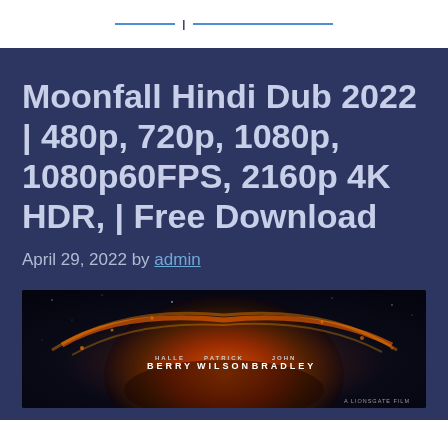— | ——————————
Moonfall Hindi Dub 2022 | 480p, 720p, 1080p, 1080p60FPS, 2160p 4K HDR, | Free Download
April 29, 2022 by admin
[Figure (photo): Moonfall movie poster showing a fiery planet/moon with cast names: HALLE BERRY, PATRICK WILSON, JOHN BRADLEY]